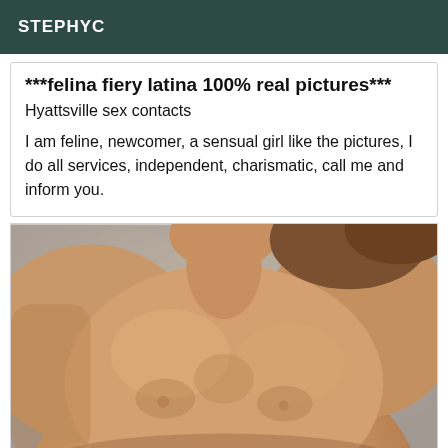STEPHYC
***felina fiery latina 100% real pictures***
Hyattsville sex contacts
I am feline, newcomer, a sensual girl like the pictures, I do all services, independent, charismatic, call me and inform you.
[Figure (photo): Close-up photo of a shirtless person's torso and chest against a light gray background]